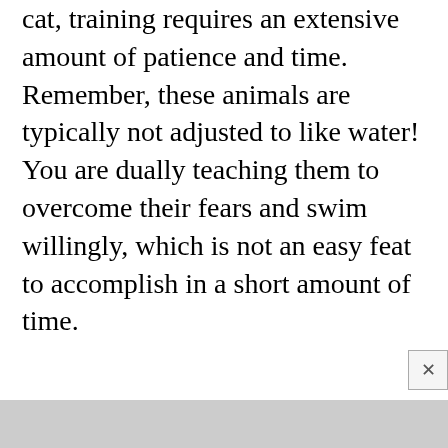cat, training requires an extensive amount of patience and time. Remember, these animals are typically not adjusted to like water! You are dually teaching them to overcome their fears and swim willingly, which is not an easy feat to accomplish in a short amount of time.
[Figure (photo): Partial photo visible at the bottom of the page, grey/muted tones]